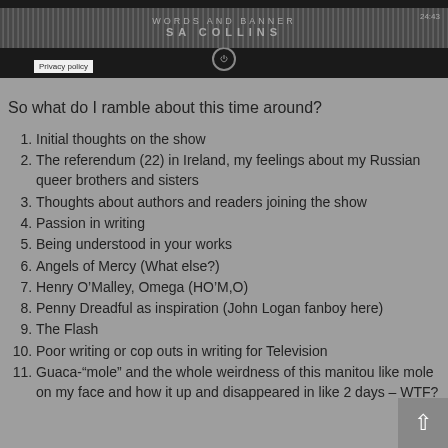[Figure (screenshot): A smartphone audio player interface showing a podcast episode by SA Collins with waveform visualization and timestamp 24:43. A 'Privacy policy' label is visible at the bottom left of the player.]
So what do I ramble about this time around?
1. Initial thoughts on the show
2. The referendum (22) in Ireland, my feelings about my Russian queer brothers and sisters
3. Thoughts about authors and readers joining the show
4. Passion in writing
5. Being understood in your works
6. Angels of Mercy (What else?)
7. Henry O’Malley, Omega (HO’M,O)
8. Penny Dreadful as inspiration (John Logan fanboy here)
9. The Flash
10. Poor writing or cop outs in writing for Television
11. Guaca-“mole” and the whole weirdness of this manitou like mole on my face and how it up and disappeared in like 2 days – WTF?